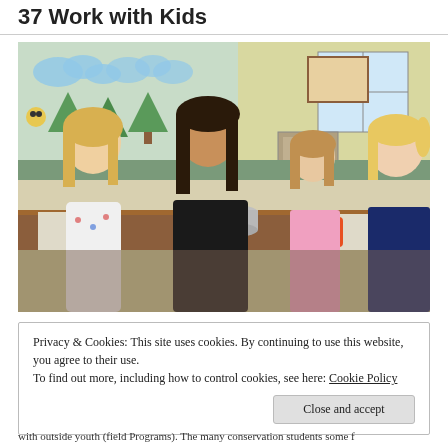37 Work with Kids
[Figure (photo): A young woman (teacher/volunteer) sitting at a table with three young girls in a colorful classroom, doing an activity together. An orange dice is visible on the table. Classroom decorations including cloud and tree cutouts are on the wall in the background.]
Privacy & Cookies: This site uses cookies. By continuing to use this website, you agree to their use.
To find out more, including how to control cookies, see here: Cookie Policy
Close and accept
with outside youth (field Programs). The many conservation students some f